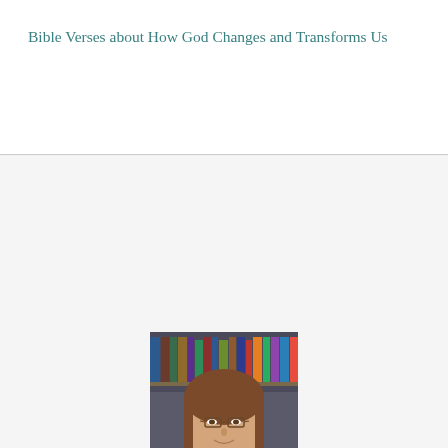Bible Verses about How God Changes and Transforms Us
[Figure (photo): Portrait photo of a woman with glasses and long brown hair, smiling, with bookshelves in the background]
- SUBSCRIBE HERE IF YOU DON'T WANT TO MISS A DEVOTIONAL! -
Please enter your email and I'll send you new posts.